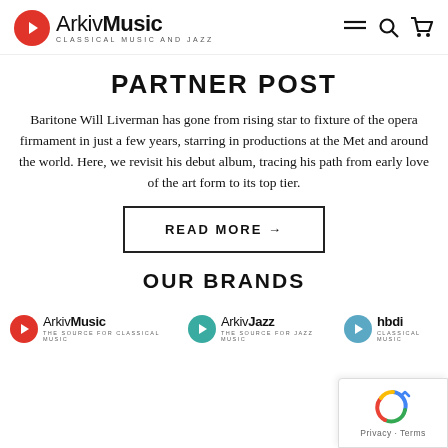[Figure (logo): ArkivMusic logo with red circle containing right-arrow, text 'ArkivMusic' and subtitle 'CLASSICAL MUSIC AND JAZZ']
PARTNER POST
Baritone Will Liverman has gone from rising star to fixture of the opera firmament in just a few years, starring in productions at the Met and around the world. Here, we revisit his debut album, tracing his path from early love of the art form to its top tier.
READ MORE →
OUR BRANDS
[Figure (logo): ArkivMusic brand logo - red circle with arrow, text ArkivMusic, tagline THE SOURCE FOR CLASSICAL MUSIC]
[Figure (logo): ArkivJazz brand logo - teal circle with arrow, text ArkivJazz, tagline THE SOURCE FOR JAZZ MUSIC]
[Figure (logo): hbdirect brand logo - blue circle with arrow, text hbdi, tagline Classical Music]